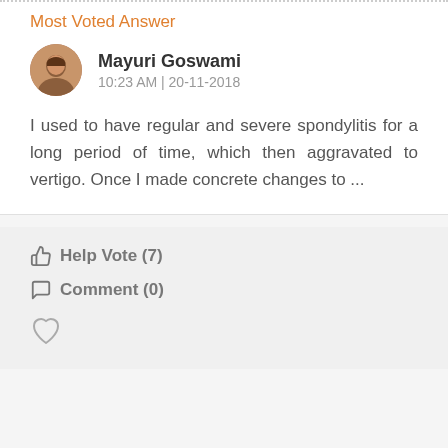Most Voted Answer
Mayuri Goswami
10:23 AM | 20-11-2018
I used to have regular and severe spondylitis for a long period of time, which then aggravated to vertigo. Once I made concrete changes to ...
Help Vote (7)
Comment (0)